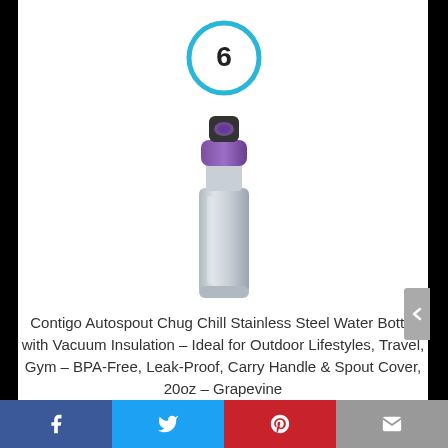[Figure (other): Number 6 in a teal/cyan circle outline]
[Figure (photo): Contigo stainless steel water bottle with purple/grape cap and spout cover]
Contigo Autospout Chug Chill Stainless Steel Water Bottle with Vacuum Insulation – Ideal for Outdoor Lifestyles, Travel, Gym – BPA-Free, Leak-Proof, Carry Handle & Spout Cover, 20oz – Grapevine